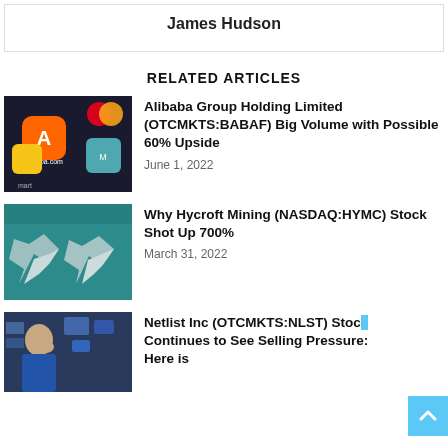James Hudson
RELATED ARTICLES
[Figure (photo): Alibaba app icon on a smartphone screen with Mastercard logo visible]
Alibaba Group Holding Limited (OTCMKTS:BABAF) Big Volume with Possible 60% Upside
June 1, 2022
[Figure (photo): Two metallic origami bulls on a teal background]
Why Hycroft Mining (NASDAQ:HYMC) Stock Shot Up 700%
March 31, 2022
[Figure (photo): Man in blue vest on a stock exchange trading floor looking thoughtful]
Netlist Inc (OTCMKTS:NLST) Stock Continues to See Selling Pressure: Here is